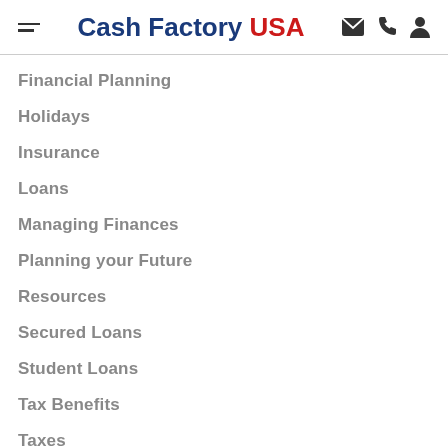Cash Factory USA
Financial Planning
Holidays
Insurance
Loans
Managing Finances
Planning your Future
Resources
Secured Loans
Student Loans
Tax Benefits
Taxes
Technology
Vacation